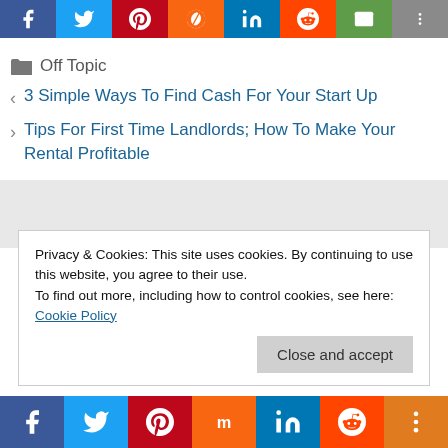[Figure (infographic): Top social share buttons bar: Facebook, Twitter, Pinterest, Mix, LinkedIn, Reddit, Email, More]
Off Topic
3 Simple Ways To Find Cash For Your Start Up
Tips For First Time Landlords; How To Make Your Rental Profitable
[Figure (other): Gray banner/advertisement area]
Privacy & Cookies: This site uses cookies. By continuing to use this website, you agree to their use.
To find out more, including how to control cookies, see here: Cookie Policy
[Figure (infographic): Bottom social share buttons bar: Facebook, Twitter, Pinterest, Mix, LinkedIn, Reddit, More]